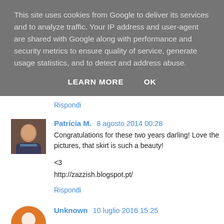This site uses cookies from Google to deliver its services and to analyze traffic. Your IP address and user-agent are shared with Google along with performance and security metrics to ensure quality of service, generate usage statistics, and to detect and address abuse.
LEARN MORE    OK
Rispondi
Patrícia M.  8 agosto 2014 00:28
Congratulations for these two years darling! Love the pictures, that skirt is such a beauty!

<3
http://zazzish.blogspot.pt/
Rispondi
Unknown  10 luglio 2016 15:25